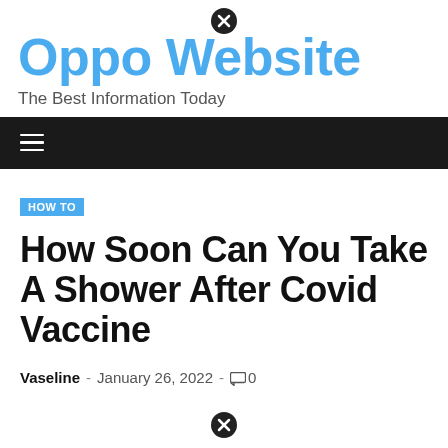Oppo Website – The Best Information Today
HOW TO
How Soon Can You Take A Shower After Covid Vaccine
Vaseline - January 26, 2022 - 0